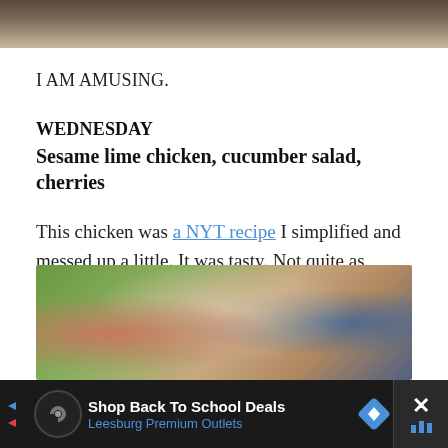[Figure (photo): Top portion of a food photo cropped at the top of the page]
I AM AMUSING.
WEDNESDAY
Sesame lime chicken, cucumber salad, cherries
This chicken was a NYT recipe I simplified and messed up a little. It was tasty. Not quite as razzle dazzle as I expected, what with the lime zest, fresh ginger, and fish sauce
[Figure (photo): Close-up photo of food being prepared, showing green herbs/vegetables and hands]
[Figure (other): Advertisement banner: Shop Back To School Deals - Leesburg Premium Outlets]